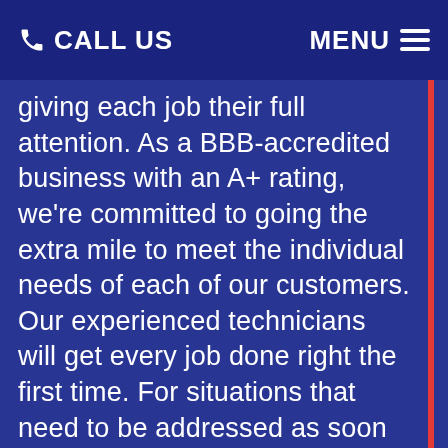CALL US   MENU
giving each job their full attention. As a BBB-accredited business with an A+ rating, we're committed to going the extra mile to meet the individual needs of each of our customers. Our experienced technicians will get every job done right the first time. For situations that need to be addressed as soon as possible, we offer 24/7 emergency availability. With a shop conveniently located off of West Hayden Avenue in Hayden, we can respond to any requests in a timely